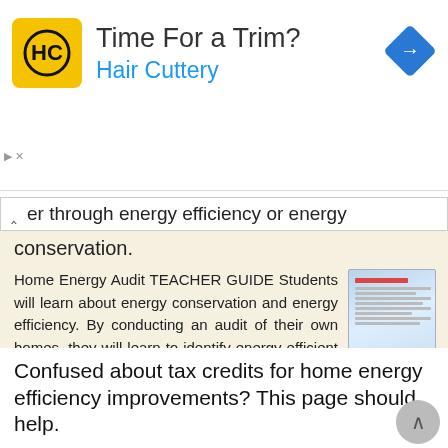[Figure (infographic): Advertisement banner for Hair Cuttery with yellow logo, headline 'Time For a Trim?' and blue subtext 'Hair Cuttery', with a blue diamond navigation arrow icon on the right.]
er through energy efficiency or energy conservation.
Home Energy Audit TEACHER GUIDE Students will learn about energy conservation and energy efficiency. By conducting an audit of their own homes, they will learn to identify energy-efficient features and
More information →
Confused about tax credits for home energy efficiency improvements? This page should help.
Confused about tax credits for home energy efficiency improvements? This page should